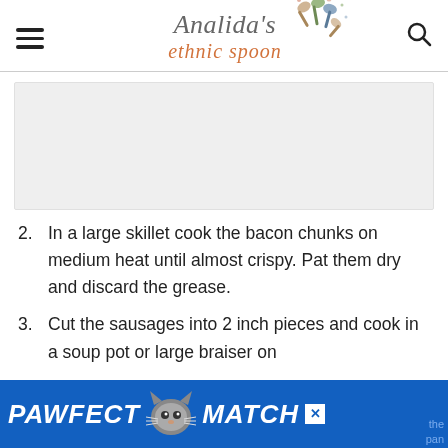Analida's ethnic spoon
[Figure (other): Gray advertisement placeholder rectangle]
2. In a large skillet cook the bacon chunks on medium heat until almost crispy. Pat them dry and discard the grease.
3. Cut the sausages into 2 inch pieces and cook in a soup pot or large braiser on
[Figure (other): PAWFECT MATCH advertisement banner with cat illustration on blue background]